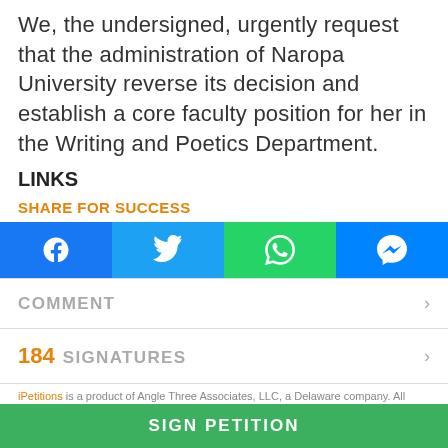We, the undersigned, urgently request that the administration of Naropa University reverse its decision and establish a core faculty position for her in the Writing and Poetics Department.
LINKS
SHARE FOR SUCCESS
[Figure (other): Social sharing buttons: Facebook (blue), Twitter (light blue), WhatsApp (green), Messenger (blue)]
COMMENT
184 SIGNATURES
iPetitions is a product of Angle Three Associates, LLC, a Delaware company. All content Copyright
SIGN PETITION